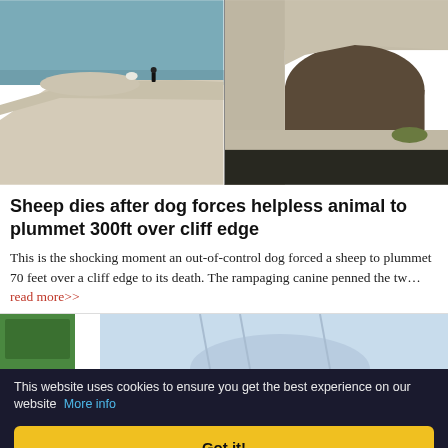[Figure (photo): Split image of white chalk cliffs. Left side shows a teal-green sea below eroded white chalk cliffs with a small figure visible on the cliff top. Right side shows a close-up of eroded chalk cliff face with dark cave-like opening.]
Sheep dies after dog forces helpless animal to plummet 300ft over cliff edge
This is the shocking moment an out-of-control dog forced a sheep to plummet 70 feet over a cliff edge to its death. The rampaging canine penned the tw... read more>>
[Figure (photo): Partial photo at bottom showing a person in a light blue puffer jacket and a green vehicle or container on the left side.]
This website uses cookies to ensure you get the best experience on our website More info
Got it!